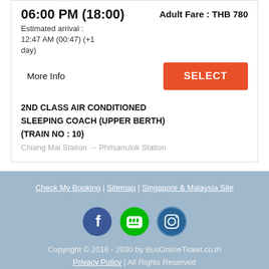06:00 PM (18:00)
Adult Fare : THB 780
Estimated arrival :
12:47 AM (00:47) (+1 day)
More Info
SELECT
2ND CLASS AIR CONDITIONED SLEEPING COACH (UPPER BERTH) (TRAIN NO : 10)
Chiang Mai Station → Phitsanulok Station
Check My Booking | Sitemap | Singapore & Malaysia Site
Copyright © 2016 - 2030 by BusOnlineTicket.co.th
Privacy Policy | All Rights Reserved